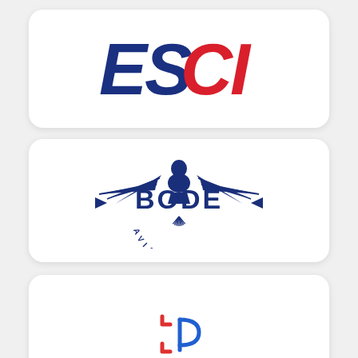[Figure (logo): ESCI logo with dark blue letters E, S and red letters C, I in bold italic style]
[Figure (logo): Bode Aviation logo with dark navy blue eagle/thunderbird design and text BODE AVIATION]
[Figure (logo): first due logo with stylized red and blue bracket icon above lowercase text 'first due']
[Figure (logo): Partially visible circular logo at the bottom of the page]